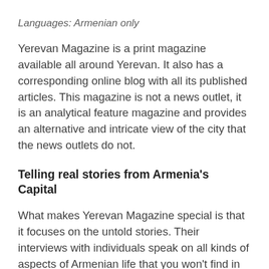Languages: Armenian only
Yerevan Magazine is a print magazine available all around Yerevan. It also has a corresponding online blog with all its published articles. This magazine is not a news outlet, it is an analytical feature magazine and provides an alternative and intricate view of the city that the news outlets do not.
Telling real stories from Armenia's Capital
What makes Yerevan Magazine special is that it focuses on the untold stories. Their interviews with individuals speak on all kinds of aspects of Armenian life that you won't find in the